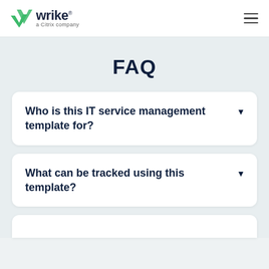Wrike — a Citrix company
FAQ
Who is this IT service management template for?
What can be tracked using this template?